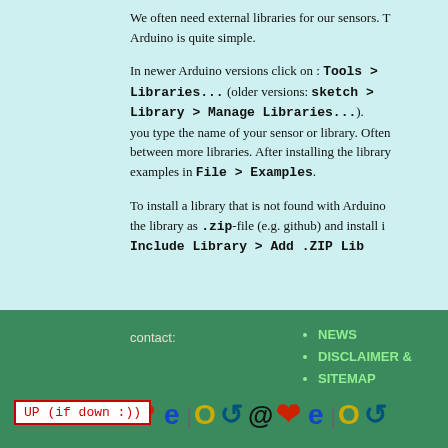We often need external libraries for our sensors. The installation in Arduino is quite simple.
In newer Arduino versions click on : Tools > Manage Libraries... (older versions: sketch > Include Library > Manage Libraries...). you type the name of your sensor or library. Often you can choose between more libraries. After installing the library you can see the examples in File > Examples.
To install a library that is not found with Arduino IDE you can download the library as .zip-file (e.g. github) and install it via Sketch > Include Library > Add .ZIP Library...
contact:
NEWS
DISCLAIMER &
SITEMAP
UP (if down :))